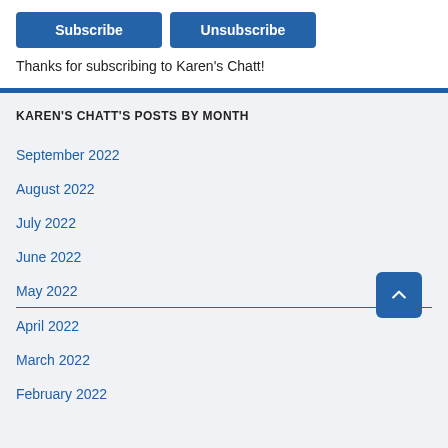[Figure (other): Subscribe and Unsubscribe buttons (blue rounded rectangles)]
Thanks for subscribing to Karen's Chatt!
KAREN'S CHATT'S POSTS BY MONTH
September 2022
August 2022
July 2022
June 2022
May 2022
April 2022
March 2022
February 2022